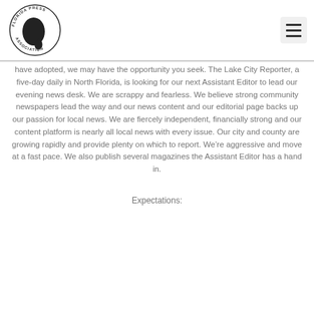[Figure (logo): Florida Press Association circular logo with outline of Florida state and text around the border]
have adopted, we may have the opportunity you seek. The Lake City Reporter, a five-day daily in North Florida, is looking for our next Assistant Editor to lead our evening news desk. We are scrappy and fearless. We believe strong community newspapers lead the way and our news content and our editorial page backs up our passion for local news. We are fiercely independent, financially strong and our content platform is nearly all local news with every issue. Our city and county are growing rapidly and provide plenty on which to report. We’re aggressive and move at a fast pace. We also publish several magazines the Assistant Editor has a hand in.
Expectations: